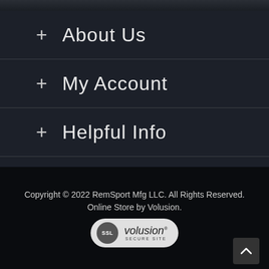+ About Us
+ My Account
+ Helpful Info
[Figure (illustration): Social media icons: Facebook (f) and Instagram (camera) in white on dark background]
Copyright © 2022 RemSport Mfg LLC. All Rights Reserved. Online Store by Volusion.